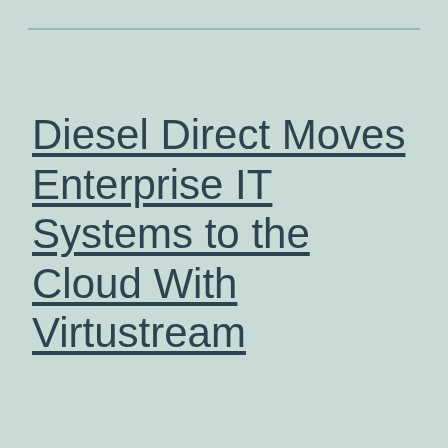Diesel Direct Moves Enterprise IT Systems to the Cloud With Virtustream